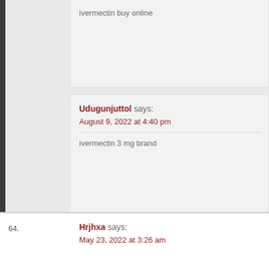ivermectin buy online
Udugunjuttol says:
August 9, 2022 at 4:40 pm
ivermectin 3 mg brand
Idugunjuttpg says:
August 12, 2022 at 8:41 pm
generic molnupiravir 200mg
64.
Hrjhxa says:
May 23, 2022 at 3:26 am